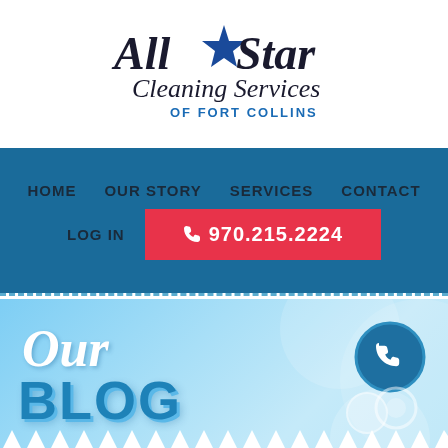[Figure (logo): All Star Cleaning Services of Fort Collins logo — stylized text with a star]
HOME  OUR STORY  SERVICES  CONTACT  LOG IN  970.215.2224
Our BLOG